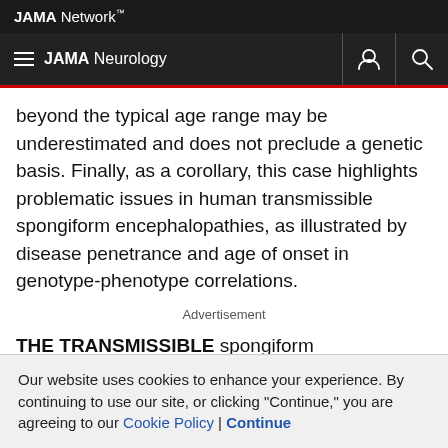JAMA Network
JAMA Neurology
beyond the typical age range may be underestimated and does not preclude a genetic basis. Finally, as a corollary, this case highlights problematic issues in human transmissible spongiform encephalopathies, as illustrated by disease penetrance and age of onset in genotype-phenotype correlations.
Advertisement
THE TRANSMISSIBLE spongiform encephalopathies (TSE; also known as prion diseases) are rare neurodegenerative disorders
Our website uses cookies to enhance your experience. By continuing to use our site, or clicking "Continue," you are agreeing to our Cookie Policy | Continue